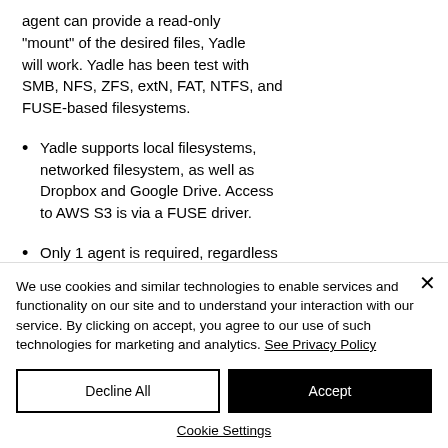host system running the Yadle agent can provide a read-only "mount" of the desired files, Yadle will work. Yadle has been test with SMB, NFS, ZFS, extN, FAT, NTFS, and FUSE-based filesystems.
Yadle supports local filesystems, networked filesystem, as well as Dropbox and Google Drive. Access to AWS S3 is via a FUSE driver.
Only 1 agent is required, regardless
We use cookies and similar technologies to enable services and functionality on our site and to understand your interaction with our service. By clicking on accept, you agree to our use of such technologies for marketing and analytics. See Privacy Policy